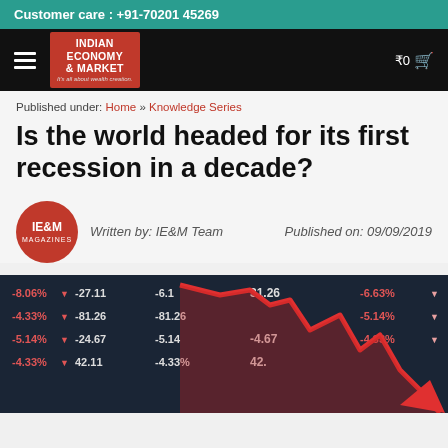Customer care : +91-70201 45269
[Figure (logo): Indian Economy & Market magazine logo with hamburger menu and cart icon on black navigation bar]
Published under: Home » Knowledge Series
Is the world headed for its first recession in a decade?
Written by: IE&M Team   Published on: 09/09/2019
[Figure (photo): Stock market ticker board showing negative percentage values like -8.06%, -4.33%, -5.14%, -4.33%, and numbers like -27.11, -81.26, -24.67, 42.11, -6.1, -5.14, -4.33, 31.26, -4.67, -6.63%, -5.14%, -4.33% with a large red downward arrow chart overlaid]